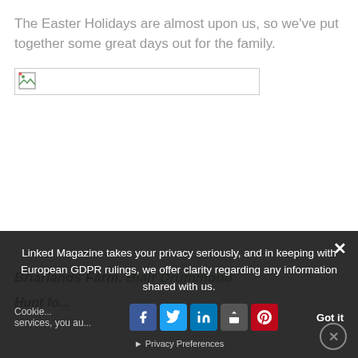The Easter Holidays are almost upon us, so we’ve put together some great days out for the family.
[Figure (other): Broken/unloaded image placeholder with border]
Briarlands Farm, Blair Drummond
Hunt fo...
Linked Magazine takes your privacy seriously, and in keeping with European GDPR rulings, we offer clarity regarding any information shared with us.
Cookies... services, you au... Got it
Privacy Preferences